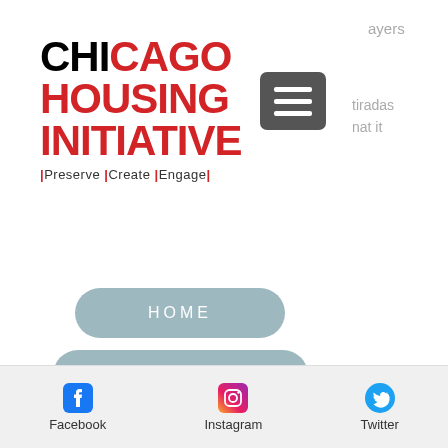[Figure (logo): Chicago Housing Initiative logo with red and black bold text, tagline: Preserve | Create | Engage]
[Figure (other): Hamburger menu icon (3 horizontal lines) on a dark gray rounded rectangle background]
HOME
ABOUT US
CONTACT ...
LEARN
RESOURCES
[Figure (other): Social media footer bar with Facebook, Instagram, and Twitter icons and labels]